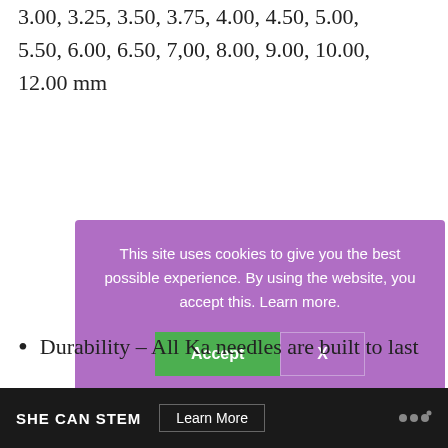3.00, 3.25, 3.50, 3.75, 4.00, 4.50, 5.00, 5.50, 6.00, 6.50, 7,00, 8.00, 9.00, 10.00, 12.00 mm
[Figure (screenshot): Cookie consent banner with purple background. Text: 'This site uses cookies to give you the best possible experience. By using the website, you accept this. Learn more.' Two buttons: green 'Accept' button and outlined 'X' button.]
Durability – All Ka needles are built to last
SHE CAN STEM  Learn More